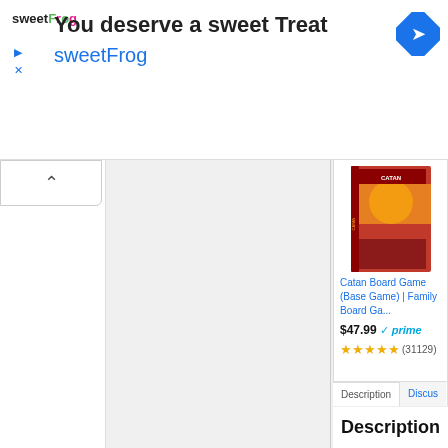[Figure (screenshot): Advertisement banner for sweetFrog frozen yogurt with text 'You deserve a sweet Treat' and brand name 'sweetFrog'. Includes a blue diamond navigation icon in the top right corner.]
Catan Board Game (Base Game) | Family Board Ga...
$47.99 ✓prime
★★★★★ (31129)
Description
Discus
Description